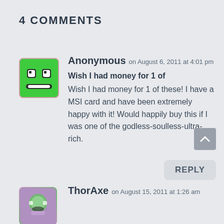4 COMMENTS
Anonymous on August 6, 2011 at 4:01 pm
Wish I had money for 1 of
Wish I had money for 1 of these! I have a MSI card and have been extremely happy with it! Would happily buy this if I was one of the godless-soulless-ultra-rich.
REPLY
ThorAxe on August 15, 2011 at 1:26 am